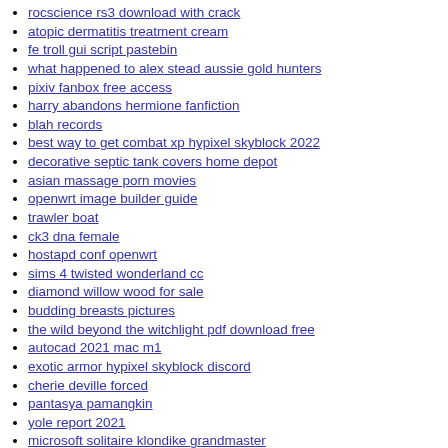rocscience rs3 download with crack
atopic dermatitis treatment cream
fe troll gui script pastebin
what happened to alex stead aussie gold hunters
pixiv fanbox free access
harry abandons hermione fanfiction
blah records
best way to get combat xp hypixel skyblock 2022
decorative septic tank covers home depot
asian massage porn movies
openwrt image builder guide
trawler boat
ck3 dna female
hostapd conf openwrt
sims 4 twisted wonderland cc
diamond willow wood for sale
budding breasts pictures
the wild beyond the witchlight pdf download free
autocad 2021 mac m1
exotic armor hypixel skyblock discord
cherie deville forced
pantasya pamangkin
yole report 2021
microsoft solitaire klondike grandmaster
chevy code p1682